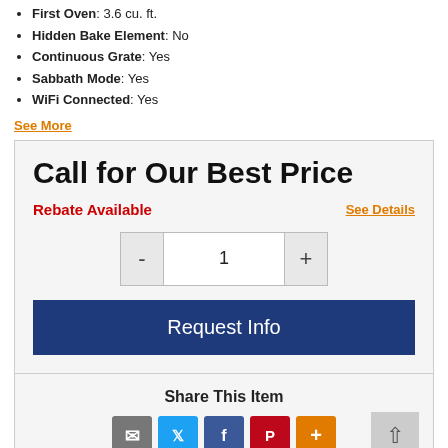First Oven: 3.6 cu. ft.
Hidden Bake Element: No
Continuous Grate: Yes
Sabbath Mode: Yes
WiFi Connected: Yes
See More
Call for Our Best Price
Rebate Available
See Details
1
Request Info
Share This Item